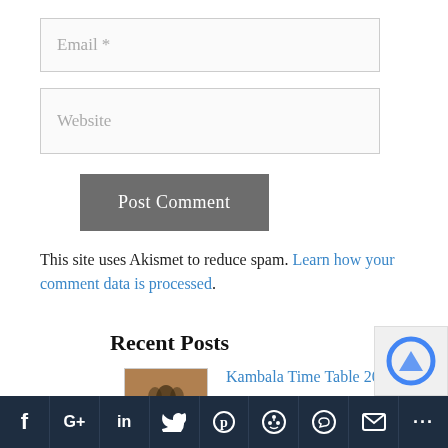Email *
Website
Post Comment
This site uses Akismet to reduce spam. Learn how your comment data is processed.
Recent Posts
Kambala Time Table 2021-22
October 19, 2021
[Figure (other): Social sharing bar with icons: Facebook (f), Google+ (G+), LinkedIn (in), Twitter bird, Pinterest (P), Reddit, WhatsApp, Mail, More (...)]